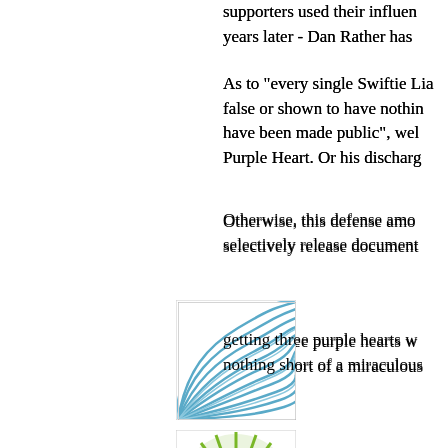supporters used their influen... years later - Dan Rather has
As to "every single Swiftie Lia... false or shown to have nothin... have been made public", wel... Purple Heart. Or his discharg...
Otherwise, this defense amo... selectively release document...
[Figure (illustration): Square avatar icon with blue wave/fan pattern on white background]
getting three purple hearts w... nothing short of a miraculous...
[Figure (illustration): Square avatar icon with green sunburst pattern and yellow center circle on white background]
After leaving active service, h... post Vietnam, there were way... needed, hence the administra...
The NY Sun tried to spin this... back it up.
Think about it--this theory rec...